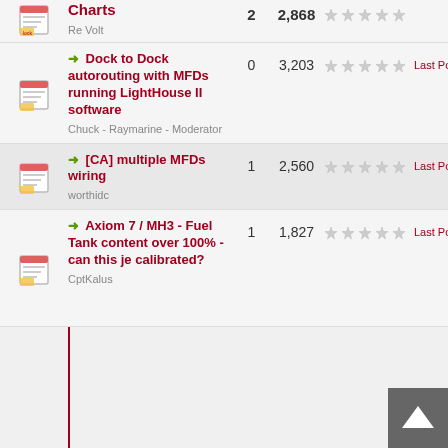Charts — Re Volt — 2 replies, 2,868 views
Dock to Dock autorouting with MFDs running LightHouse II software — Chuck - Raymarine - Moderator — 0 replies, 3,203 views — Last Post: Chuck - R
[CA] multiple MFDs wiring — worthidc — 1 reply, 2,560 views — Last Post: Chuck - R
Axiom 7 / MH3 - Fuel Tank content over 100% - can this je calibrated? — CptKalus — 1 reply, 1,827 views — Last Post: Chuck - R